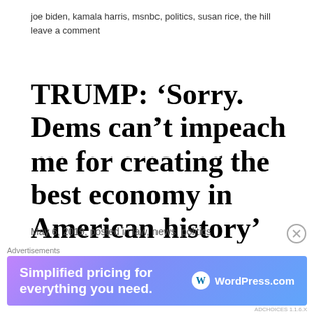joe biden, kamala harris, msnbc, politics, susan rice, the hill     leave a comment
TRUMP: ‘Sorry. Dems can’t impeach me for creating the best economy in American history’
May 6, 2019, posted in law, news, politics
WASHINGTON — President Donald Trump on Monday railed against the latest call from
[Figure (screenshot): WordPress.com advertisement banner reading 'Simplified pricing for everything you need.' with WordPress.com logo on a purple-blue gradient background]